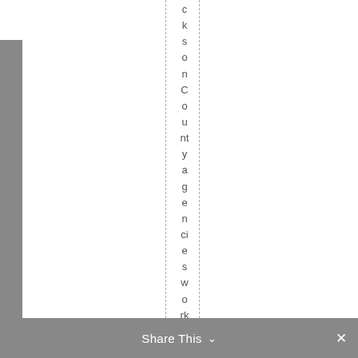cksonCounty agencies working to h n
Share This ∨  ✕